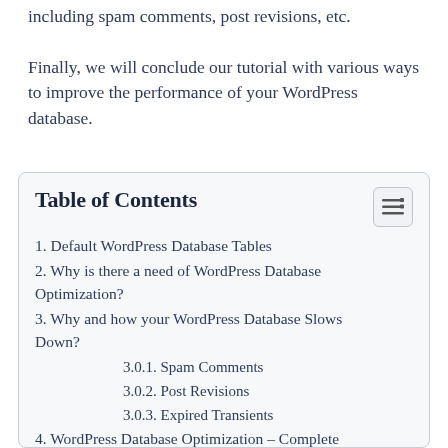including spam comments, post revisions, etc.
Finally, we will conclude our tutorial with various ways to improve the performance of your WordPress database.
Table of Contents
1. Default WordPress Database Tables
2. Why is there a need of WordPress Database Optimization?
3. Why and how your WordPress Database Slows Down?
3.0.1. Spam Comments
3.0.2. Post Revisions
3.0.3. Expired Transients
4. WordPress Database Optimization – Complete Guide
4.0.1. Step by Step Guide to Optimize Your WordPress Database With WP-Optimize
4.0.2. Optimize Database using WP-Sweep